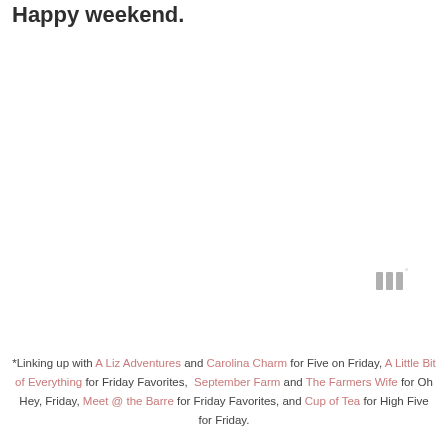Happy weekend.
[Figure (logo): Small logo mark with three vertical bars and a superscript degree symbol, light gray color]
*Linking up with A Liz Adventures and Carolina Charm for Five on Friday, A Little Bit of Everything for Friday Favorites, September Farm and The Farmers Wife for Oh Hey, Friday, Meet @ the Barre for Friday Favorites, and Cup of Tea for High Five for Friday.